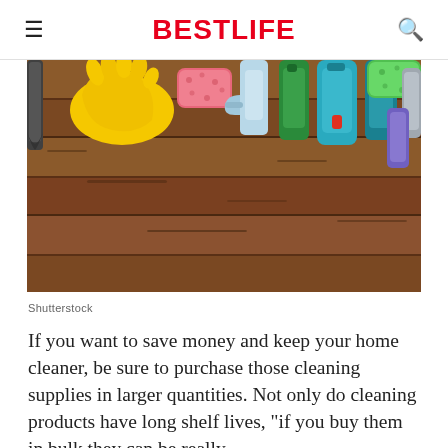BestLife
[Figure (photo): Cleaning supplies including yellow rubber gloves, pink sponge, spray bottles, green sponge, and various detergent bottles arranged on a wooden surface, viewed from above.]
Shutterstock
If you want to save money and keep your home cleaner, be sure to purchase those cleaning supplies in larger quantities. Not only do cleaning products have long shelf lives, "if you buy them in bulk they can be really